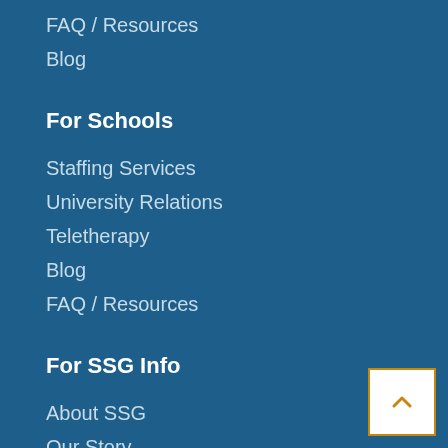FAQ / Resources
Blog
For Schools
Staffing Services
University Relations
Teletherapy
Blog
FAQ / Resources
For SSG Info
About SSG
Our Story
Company News
Stepping Up For A Cause
Contact Us